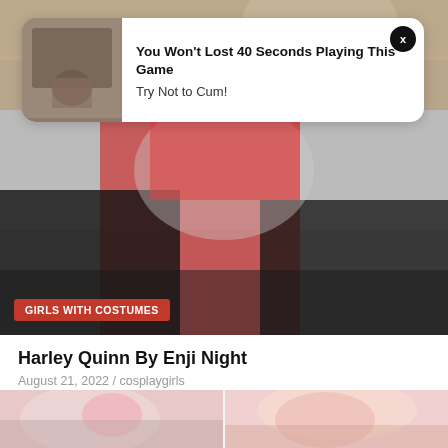[Figure (photo): Background photo of cosplay/people at top of page]
You Won't Lost 40 Seconds Playing This Game
Try Not to Cum!
[Figure (photo): Harley Quinn cosplay photo with red and black costume. Tag: GIRLS WITH COSTUMES]
Harley Quinn By Enji Night
August 21, 2022 / cosplaygirls
[Figure (photo): Two photos of a girl with pink hair and cat ear headphones cosplay, side by side]